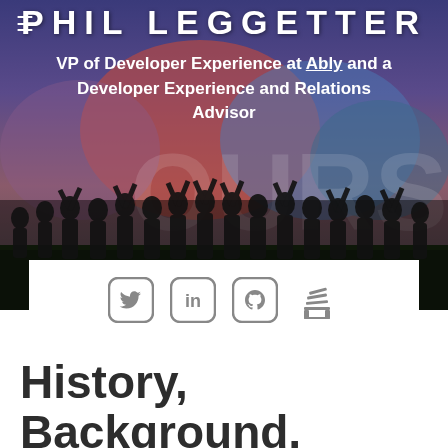PHIL LEGGETTER
VP of Developer Experience at Ably and a Developer Experience and Relations Advisor
[Figure (photo): Group photo of many people with hands raised in front of a colorful mural background]
[Figure (infographic): Social media icons: Twitter, LinkedIn, GitHub, Stack Overflow]
History, Background, Benefits & Use Cases of Realtime